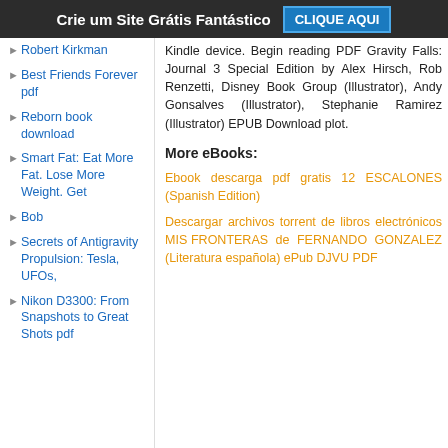Crie um Site Grátis Fantástico   CLIQUE AQUI
Robert Kirkman
Best Friends Forever pdf
Reborn book download
Smart Fat: Eat More Fat. Lose More Weight. Get
Bob
Secrets of Antigravity Propulsion: Tesla, UFOs,
Nikon D3300: From Snapshots to Great Shots pdf
Kindle device. Begin reading PDF Gravity Falls: Journal 3 Special Edition by Alex Hirsch, Rob Renzetti, Disney Book Group (Illustrator), Andy Gonsalves (Illustrator), Stephanie Ramirez (Illustrator) EPUB Download plot.
More eBooks:
Ebook descarga pdf gratis 12 ESCALONES (Spanish Edition)
Descargar archivos torrent de libros electrónicos MIS FRONTERAS de FERNANDO GONZALEZ (Literatura española) ePub DJVU PDF